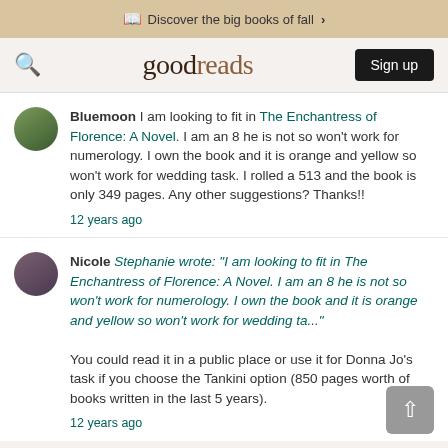Discover the big books of fall >
goodreads  Sign up
Bluemoon I am looking to fit in The Enchantress of Florence: A Novel. I am an 8 he is not so won't work for numerology. I own the book and it is orange and yellow so won't work for wedding task. I rolled a 513 and the book is only 349 pages. Any other suggestions? Thanks!!
12 years ago
Nicole Stephanie wrote: "I am looking to fit in The Enchantress of Florence: A Novel. I am an 8 he is not so won't work for numerology. I own the book and it is orange and yellow so won't work for wedding ta..." You could read it in a public place or use it for Donna Jo's task if you choose the Tankini option (850 pages worth of books written in the last 5 years).
12 years ago